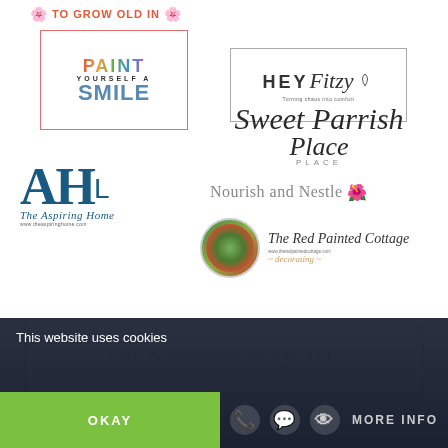[Figure (logo): TO GROW OLD IN text with flower decorations]
[Figure (logo): Paint Yourself a Smile logo in colorful text with border]
[Figure (logo): Hey Fitzy logo in a bordered box]
[Figure (logo): Sweet Parrish Place cursive logo]
[Figure (logo): The Aspiring Home logo with AH monogram]
[Figure (logo): Nourish and Nestle logo with flower emoji]
[Figure (logo): The Red Painted Cottage logo with circular image]
ORC BATHROOM MAKEOVER
This website uses cookies
OKAY
MORE INFO